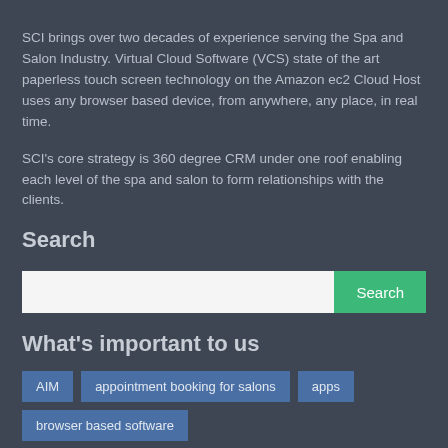SCI brings over two decades of experience serving the Spa and Salon Industry. Virtual Cloud Software (VCS) state of the art paperless touch screen technology on the Amazon ec2 Cloud Host uses any browser based device, from anywhere, any place, in real time.
SCI's core strategy is 360 degree CRM under one roof enabling each level of the spa and salon to form relationships with the clients.
Search
What's important to us
AIM
appointment booking for salons
apps
browser based software